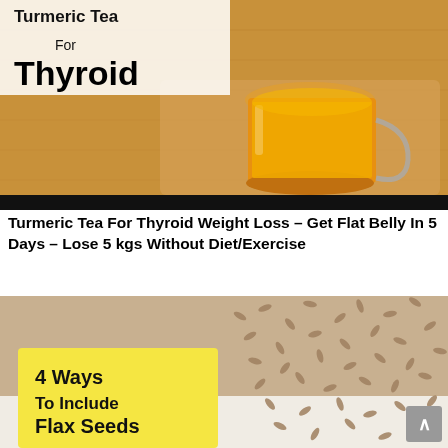[Figure (photo): A glass cup of golden turmeric tea on a wooden board. Text overlay reads 'Turmeric Tea For Thyroid' in bold black letters on a white/dark background strip.]
Turmeric Tea For Thyroid Weight Loss – Get Flat Belly In 5 Days – Lose 5 kgs Without Diet/Exercise
[Figure (photo): Flax seeds scattered on a white surface, with a yellow label overlay reading '4 Ways To Include Flax Seeds'. A scroll-to-top button is visible in the bottom right corner.]